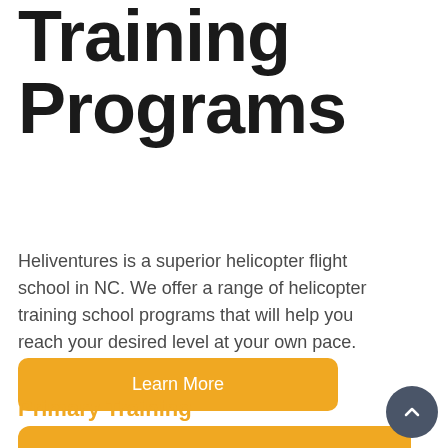Training Programs
Heliventures is a superior helicopter flight school in NC. We offer a range of helicopter training school programs that will help you reach your desired level at your own pace.
Learn More
Primary Training